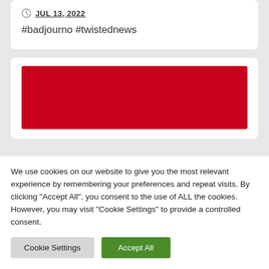JUL 13, 2022
#badjourno #twistednews
[Figure (other): Solid red/dark red banner image]
We use cookies on our website to give you the most relevant experience by remembering your preferences and repeat visits. By clicking "Accept All", you consent to the use of ALL the cookies. However, you may visit "Cookie Settings" to provide a controlled consent.
Cookie Settings
Accept All